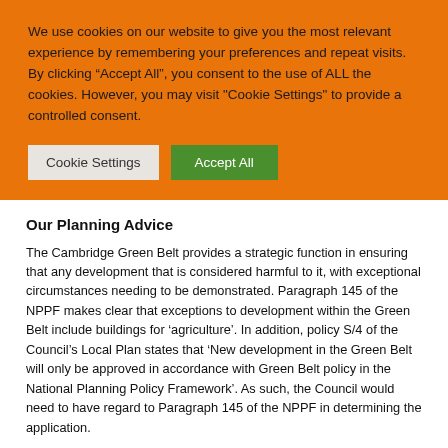We use cookies on our website to give you the most relevant experience by remembering your preferences and repeat visits. By clicking “Accept All”, you consent to the use of ALL the cookies. However, you may visit "Cookie Settings" to provide a controlled consent.
Cookie Settings | Accept All
Our Planning Advice
The Cambridge Green Belt provides a strategic function in ensuring that any development that is considered harmful to it, with exceptional circumstances needing to be demonstrated. Paragraph 145 of the NPPF makes clear that exceptions to development within the Green Belt include buildings for ‘agriculture’. In addition, policy S/4 of the Council’s Local Plan states that ‘New development in the Green Belt will only be approved in accordance with Green Belt policy in the National Planning Policy Framework’. As such, the Council would need to have regard to Paragraph 145 of the NPPF in determining the application.